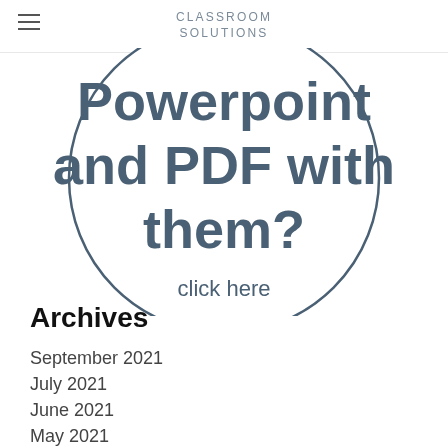CLASSROOM SOLUTIONS
[Figure (illustration): A circular badge/button graphic with text 'Powerpoint and PDF with them?' and 'click here' inside, styled with a dark blue-gray outline circle on white background.]
Archives
September 2021
July 2021
June 2021
May 2021
April 2021
March 2021